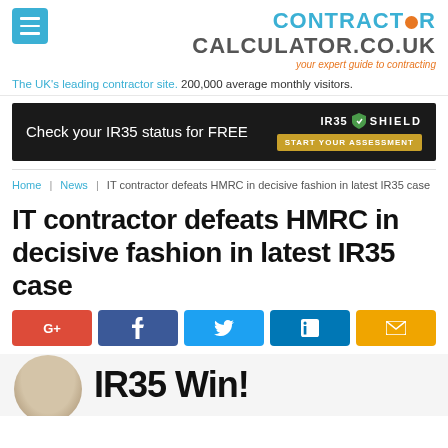CONTRACTOR CALCULATOR.CO.UK — your expert guide to contracting
The UK's leading contractor site. 200,000 average monthly visitors.
[Figure (infographic): Dark banner ad: Check your IR35 status for FREE — IR35 Shield START YOUR ASSESSMENT]
Home | News | IT contractor defeats HMRC in decisive fashion in latest IR35 case
IT contractor defeats HMRC in decisive fashion in latest IR35 case
[Figure (infographic): Social sharing buttons: G+, Facebook, Twitter, LinkedIn, Email]
[Figure (photo): Person photo with IR35 Win! text overlay]